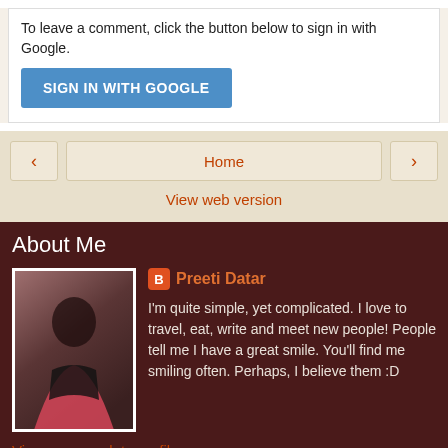To leave a comment, click the button below to sign in with Google.
[Figure (screenshot): SIGN IN WITH GOOGLE button (blue)]
[Figure (screenshot): Navigation bar with left arrow, Home link, right arrow, and View web version link]
About Me
[Figure (photo): Profile photo of Preeti Datar, a woman in a pink skirt sitting on steps]
Preeti Datar
I'm quite simple, yet complicated. I love to travel, eat, write and meet new people! People tell me I have a great smile. You'll find me smiling often. Perhaps, I believe them :D
View my complete profile
Powered by Blogger.